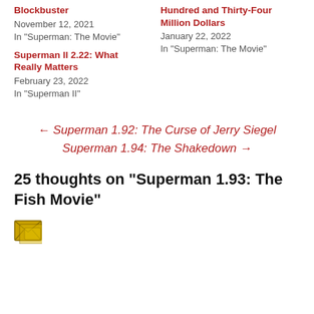Blockbuster
November 12, 2021
In "Superman: The Movie"
Hundred and Thirty-Four Million Dollars
January 22, 2022
In "Superman: The Movie"
Superman II 2.22: What Really Matters
February 23, 2022
In "Superman II"
← Superman 1.92: The Curse of Jerry Siegel
Superman 1.94: The Shakedown →
25 thoughts on "Superman 1.93: The Fish Movie"
[Figure (illustration): Avatar/email icon at the bottom of the page]